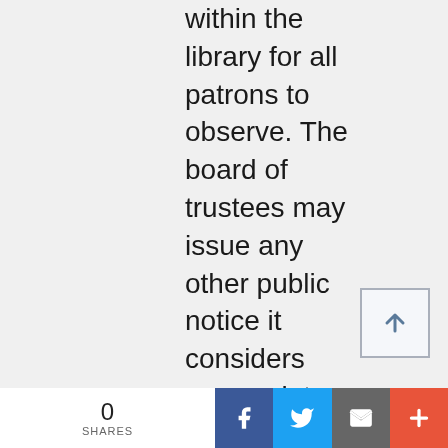within the library for all patrons to observe. The board of trustees may issue any other public notice it considers appropriate to inform the community about the policy. (6) The policy may: (a) State that it restricts access to internet media...
[Figure (other): Scroll-to-top button with upward arrow icon]
0 SHARES | Facebook | Twitter | Email | +